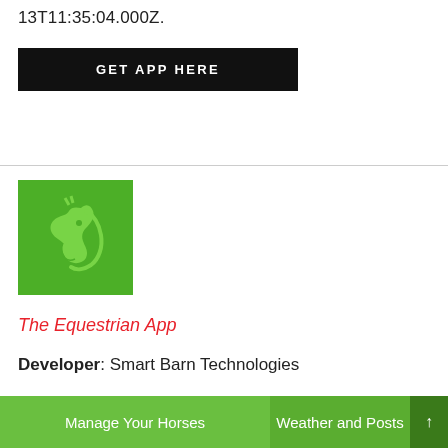13T11:35:04.000Z.
[Figure (other): Black button with white uppercase text reading GET APP HERE]
[Figure (logo): Green square logo with a white horse head silhouette facing left — The Equestrian App logo]
The Equestrian App
Developer: Smart Barn Technologies
[Figure (screenshot): Two green app screenshot thumbnails at bottom: left reads Manage Your Horses, right reads Weather and Posts with a dark green arrow button]